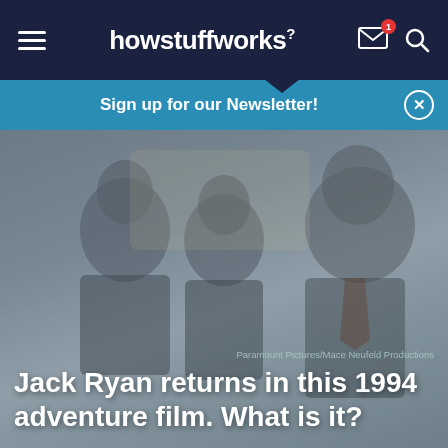howstuffworks
Sign up for our Newsletter!
[Figure (photo): Three men in suits sitting in a car, appearing to be from a 1994 action/adventure film. The image is somewhat muted/grayed. Credit: Paramount Pictures/Mace Neufeld Productions]
Paramount Pictures/Mace Neufeld Productions
Jack Ryan returns in this 1994 adventure film. What is it?